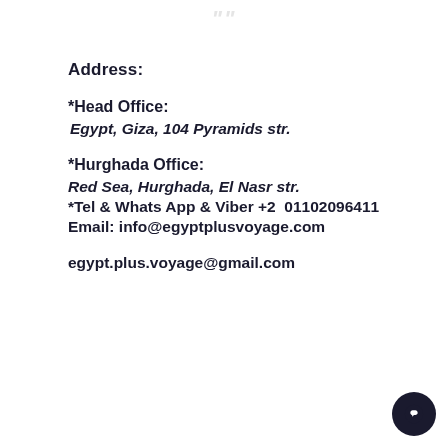Address:
*Head Office:
Egypt, Giza, 104 Pyramids str.
*Hurghada Office:
Red Sea, Hurghada, El Nasr str.
*Tel & Whats App & Viber +2  01102096411
Email: info@egyptplusvoyage.com
egypt.plus.voyage@gmail.com